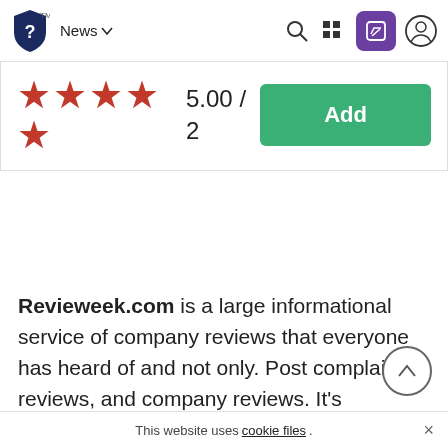News | [search] [grid] [edit] [user]
[Figure (other): Star rating showing 5 red stars arranged as 4 in a row and 1 below, with score 5.00/2, and a green Add button]
Revieweek.com is a large informational service of company reviews that everyone has heard of and not only. Post complaints, reviews, and company reviews. It's invaluable
This website uses cookie files.